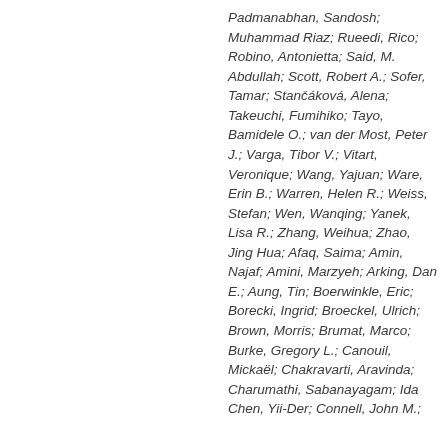Padmanabhan, Sandosh; Muhammad Riaz; Rueedi, Rico; Robino, Antonietta; Said, M. Abdullah; Scott, Robert A.; Sofer, Tamar; Stančáková, Alena; Takeuchi, Fumihiko; Tayo, Bamidele O.; van der Most, Peter J.; Varga, Tibor V.; Vitart, Veronique; Wang, Yajuan; Ware, Erin B.; Warren, Helen R.; Weiss, Stefan; Wen, Wanqing; Yanek, Lisa R.; Zhang, Weihua; Zhao, Jing Hua; Afaq, Saima; Amin, Najaf; Amini, Marzyeh; Arking, Dan E.; Aung, Tin; Boerwinkle, Eric; Borecki, Ingrid; Broeckel, Ulrich; Brown, Morris; Brumat, Marco; Burke, Gregory L.; Canouil, Mickaël; Chakravarti, Aravinda; Charumathi, Sabanayagam; Ida Chen, Yii-Der; Connell, John M.; Correa, Adolfo; de Boer, Rao